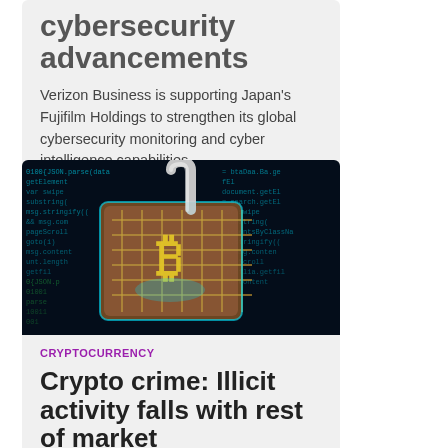cybersecurity advancements
Verizon Business is supporting Japan's Fujifilm Holdings to strengthen its global cybersecurity monitoring and cyber intelligence capabilities.
[Figure (photo): Dark digital background with a glowing padlock featuring a Bitcoin symbol on a circuit board, surrounded by code text]
CRYPTOCURRENCY
Crypto crime: Illicit activity falls with rest of market